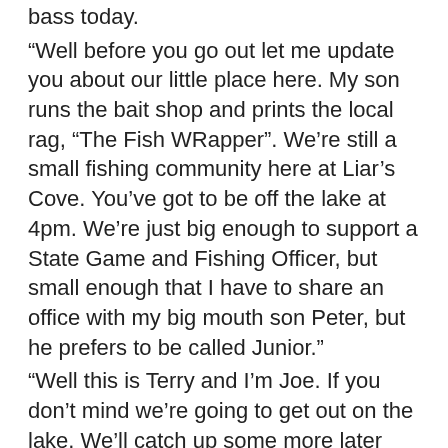bass today.
“Well before you go out let me update you about our little place here. My son runs the bait shop and prints the local rag, “The Fish WRapper”. We’re still a small fishing community here at Liar’s Cove. You’ve got to be off the lake at 4pm. We’re just big enough to support a State Game and Fishing Officer, but small enough that I have to share an office with my big mouth son Peter, but he prefers to be called Junior.”
“Well this is Terry and I’m Joe. If you don’t mind we’re going to get out on the lake. We’ll catch up some more later this afternoon.”
“That sounds good boys; my name is Officer Michael P Pecker, senior. Oh and junior’s a little sensitive about his red hair and only his friends can call him Peckerwood. Now where is that boy?”